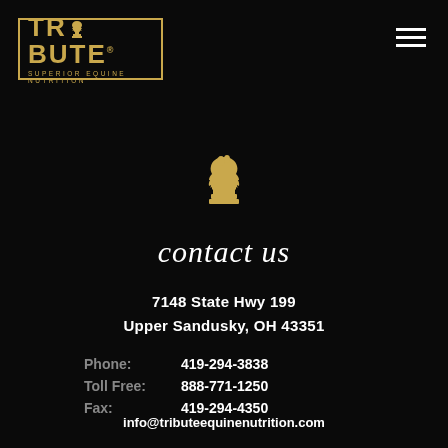[Figure (logo): Tribute Superior Equine Nutrition logo with golden border and chess knight icon]
[Figure (illustration): Hamburger menu icon (three horizontal white lines) in top-right corner]
[Figure (illustration): Golden chess knight piece icon centered on black background]
contact us
7148 State Hwy 199
Upper Sandusky, OH 43351
Phone: 419-294-3838
Toll Free: 888-771-1250
Fax: 419-294-4350
info@tributeequinenutrition.com